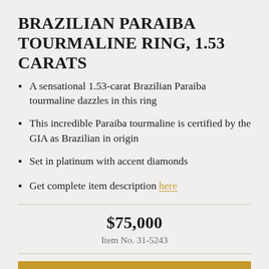BRAZILIAN PARAIBA TOURMALINE RING, 1.53 CARATS
A sensational 1.53-carat Brazilian Paraiba tourmaline dazzles in this ring
This incredible Paraiba tourmaline is certified by the GIA as Brazilian in origin
Set in platinum with accent diamonds
Get complete item description here
$75,000
Item No. 31-5243
Request More Info
Add To Bag